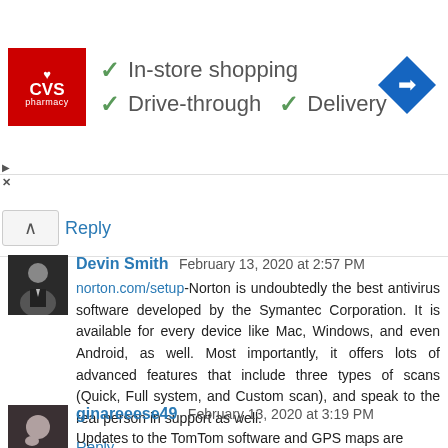[Figure (screenshot): CVS Pharmacy advertisement banner showing logo with In-store shopping, Drive-through, and Delivery checkmarks, plus a map navigation icon]
Reply
Devin Smith  February 13, 2020 at 2:57 PM
norton.com/setup-Norton is undoubtedly the best antivirus software developed by the Symantec Corporation. It is available for every device like Mac, Windows, and even Android, as well. Most importantly, it offers lots of advanced features that include three types of scans (Quick, Full system, and Custom scan), and speak to the real person in support as well.
Reply
ginareeese49  February 13, 2020 at 3:19 PM
Updates to the TomTom software and GPS maps are